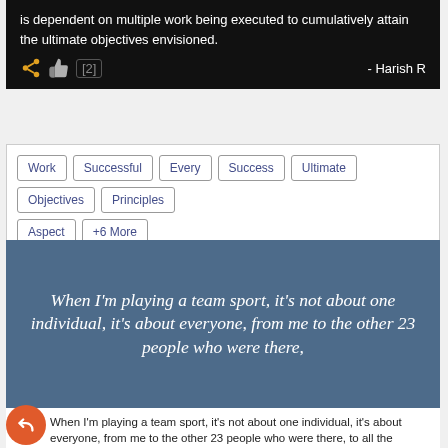is dependent on multiple work being executed to cumulatively attain the ultimate objectives envisioned.
- Harish R
Work | Successful | Every | Success | Ultimate | Objectives | Principles | Aspect | +6 More
When I'm playing a team sport, it's not about one individual, it's about everyone, from me to the other 23 people who were there,
When I'm playing a team sport, it's not about one individual, it's about everyone, from me to the other 23 people who were there, to all the support staff who've worked very hard behind the scenes.